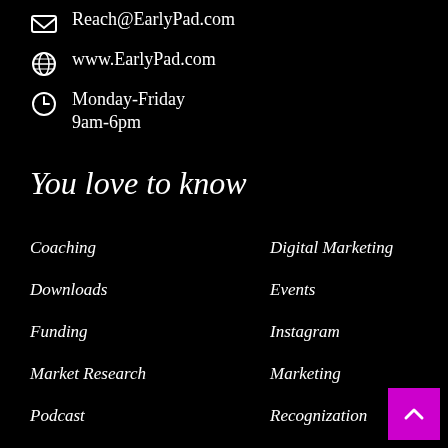Reach@EarlyPad.com
www.EarlyPad.com
Monday-Friday 9am-6pm
You love to know
Coaching
Digital Marketing
Downloads
Events
Funding
Instagram
Market Research
Marketing
Podcast
Recognization
Recommendations
Service Providers
Startup Talk
Startups Page